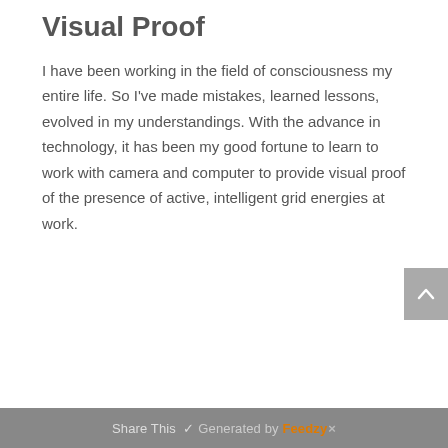Visual Proof
I have been working in the field of consciousness my entire life. So I've made mistakes, learned lessons, evolved in my understandings. With the advance in technology, it has been my good fortune to learn to work with camera and computer to provide visual proof of the presence of active, intelligent grid energies at work.
Share This  Generated by Feedzy ×